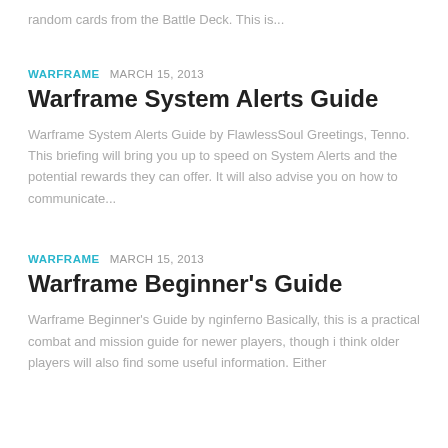random cards from the Battle Deck. This is...
WARFRAME   MARCH 15, 2013
Warframe System Alerts Guide
Warframe System Alerts Guide by FlawlessSoul Greetings, Tenno. This briefing will bring you up to speed on System Alerts and the potential rewards they can offer. It will also advise you on how to communicate...
WARFRAME   MARCH 15, 2013
Warframe Beginner's Guide
Warframe Beginner's Guide by nginferno Basically, this is a practical combat and mission guide for newer players, though i think older players will also find some useful information. Either